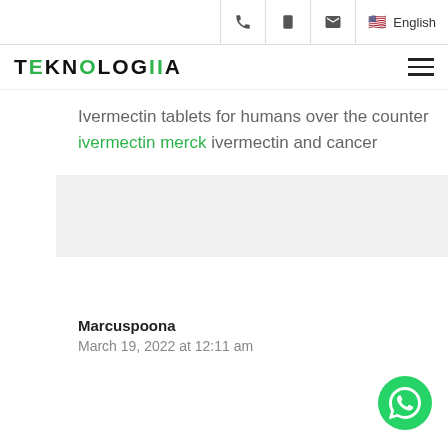Phone | Tablet | Mail | English
TEKNOLOGIA
Ivermectin tablets for humans over the counter ivermectin merck ivermectin and cancer
Marcuspoona
March 19, 2022 at 12:11 am